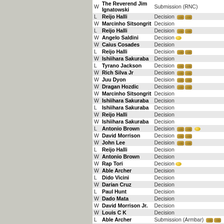|  | Opponent | Method | Event |
| --- | --- | --- | --- |
| W | The Reverend Jim Ignatowski | Submission (RNC) | CW |
| L | Reijo Halli | Decision | CW |
| W | Marcinho Sitsongrit | Decision | CW |
| L | Reijo Halli | Decision | CW |
| W | Angelo Saldini | Decision | CW |
| W | Caius Cosades | Decision | CW |
| L | Reijo Halli | Decision | CW |
| W | Ishiihara Sakuraba | Decision | CW |
| L | Tyrano Jackson | Decision | CW |
| W | Rich Silva Jr | Decision | CW |
| W | Juu Dyon | Decision | CW |
| W | Dragan Hozdic | Decision | CW |
| W | Marcinho Sitsongrit | Decision | CW |
| W | Ishiihara Sakuraba | Decision | CW |
| L | Ishiihara Sakuraba | Decision | CW |
| W | Reijo Halli | Decision | CW |
| W | Ishiihara Sakuraba | Decision | CW |
| L | Antonio Brown | Decision | CW |
| W | David Morrison | Decision | CW |
| W | John Lee | Decision | CW |
| L | Reijo Halli | Decision | TW |
| W | Antonio Brown | Decision | TW |
| W | Rap Tori | Decision | CW |
| W | Able Archer | Decision | CW |
| L | Dido Vicini | Decision | CW |
| W | Darian Cruz | Decision | CW |
| L | Paul Hunt | Decision | TW |
| W | Dado Mata | Decision | TW |
| W | David Morrison Jr. | Decision | TW |
| W | Louis C K | Decision | TW |
| L | Able Archer | Submission (Armbar) | CA |
| L |  | Decision | TW |